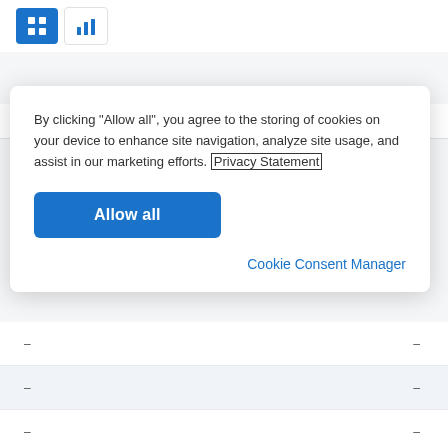[Figure (screenshot): Toolbar with grid view icon (active, blue) and bar chart icon buttons]
| Characteristic | Share of total visitors |
| --- | --- |
| – | – |
| – | – |
| – | – |
| – | – |
By clicking "Allow all", you agree to the storing of cookies on your device to enhance site navigation, analyze site usage, and assist in our marketing efforts. Privacy Statement
Allow all
Cookie Consent Manager